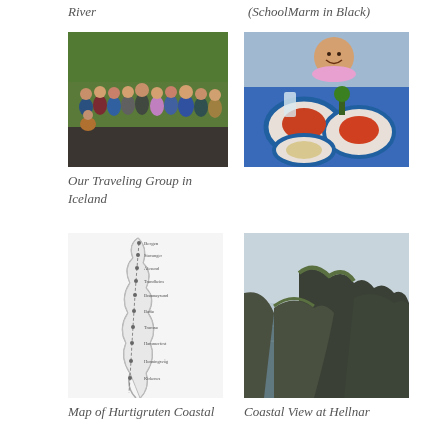River
(SchoolMarm in Black)
[Figure (photo): Group photo of travelers standing outdoors on rocky terrain with green hillside behind — Our Traveling Group in Iceland]
[Figure (photo): Woman smiling at outdoor restaurant table with colorful food dishes and blue-rimmed plates]
Our Traveling Group in Iceland
[Figure (map): Map of Hurtigruten Coastal route along Norwegian coast with labeled stops]
[Figure (photo): Coastal rocky cliff view at Hellnar, Iceland — grey water with jagged rock formations]
Map of Hurtigruten Coastal
Coastal View at Hellnar